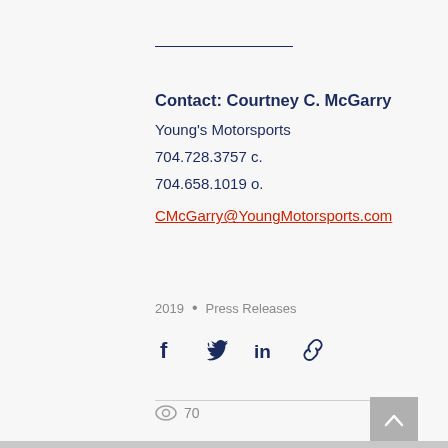Contact: Courtney C. McGarry
Young's Motorsports
704.728.3757 c.
704.658.1019 o.
CMcGarry@YoungMotorsports.com
2019 • Press Releases
70